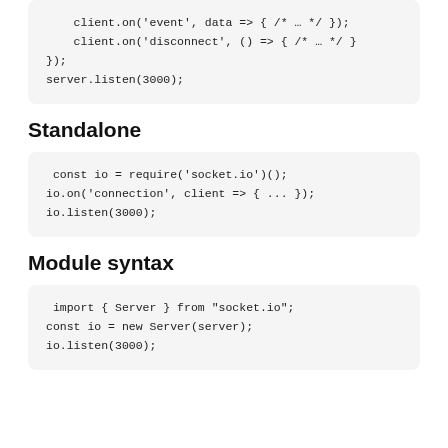client.on('event', data => { /* … */ });
    client.on('disconnect', () => { /* … */ }
});
server.listen(3000);
Standalone
const io = require('socket.io')();
io.on('connection', client => { ... });
io.listen(3000);
Module syntax
import { Server } from "socket.io";
const io = new Server(server);
io.listen(3000);